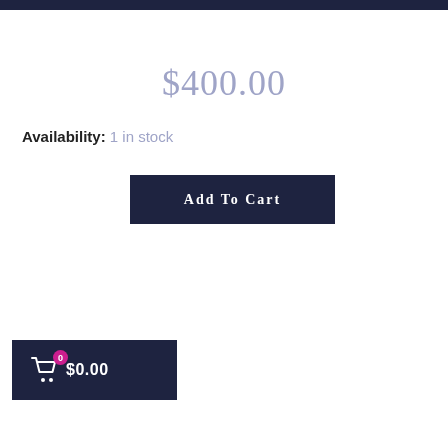$400.00
Availability: 1 in stock
ADD TO CART
[Figure (other): Shopping cart widget showing $0.00 with a badge showing 0 items]